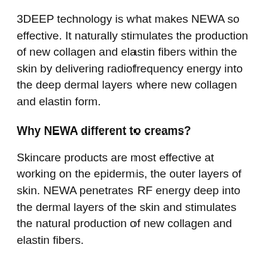3DEEP technology is what makes NEWA so effective. It naturally stimulates the production of new collagen and elastin fibers within the skin by delivering radiofrequency energy into the deep dermal layers where new collagen and elastin form.
Why NEWA different to creams?
Skincare products are most effective at working on the epidermis, the outer layers of skin. NEWA penetrates RF energy deep into the dermal layers of the skin and stimulates the natural production of new collagen and elastin fibers.